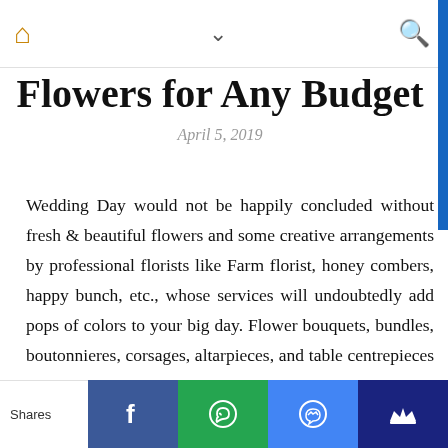🏠 ∨ 🔍
Flowers for Any Budget
April 5, 2019
Wedding Day would not be happily concluded without fresh & beautiful flowers and some creative arrangements by professional florists like Farm florist, honey combers, happy bunch, etc., whose services will undoubtedly add pops of colors to your big day. Flower bouquets, bundles, boutonnieres, corsages, altarpieces, and table centrepieces will add a large number of dollars to the all-out wedding bill. So, if you are planning for your special day's flower arrangement and want to do wedding décor, check out below 7 amazing ways to get affordable wedding flowers for any
Shares | Facebook | WhatsApp | Messenger | Crown